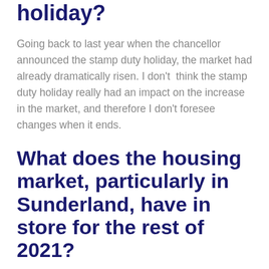holiday?
Going back to last year when the chancellor announced the stamp duty holiday, the market had already dramatically risen. I don't think the stamp duty holiday really had an impact on the increase in the market, and therefore I don't foresee changes when it ends.
What does the housing market, particularly in Sunderland, have in store for the rest of 2021?
At this point, we are awaiting the outcome of the stamp duty extension in parliament, but until the budget takes place on 3rd March, it's